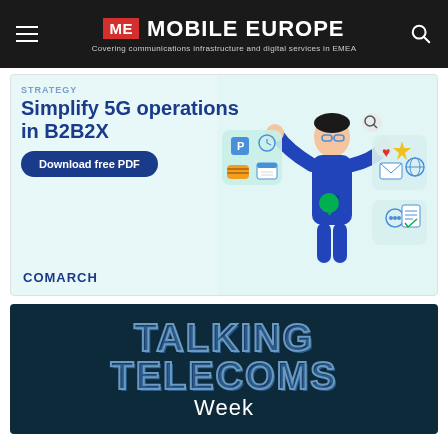ME MOBILE EUROPE — Covering communications infrastructure and digital services in EMEA
[Figure (illustration): Comarch advertisement banner: 'Simplify 5G operations in B2B2X' with Download free PDF button, illustration of person with digital icons, COMARCH branding]
[Figure (illustration): Talking Telecoms Week banner with large bold text on dark navy background]